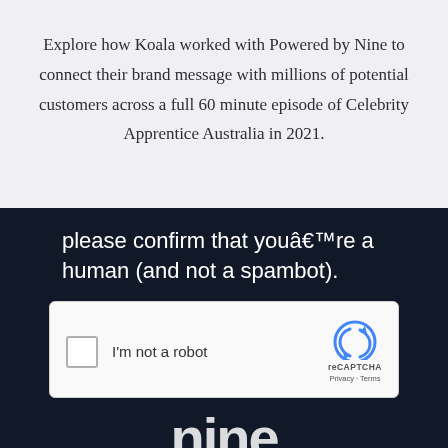Explore how Koala worked with Powered by Nine to connect their brand message with millions of potential customers across a full 60 minute episode of Celebrity Apprentice Australia in 2021.
[Figure (screenshot): Dark navy background section showing a reCAPTCHA verification prompt. Text reads: 'please confirm that youâ€™re a human (and not a spambot).' Below is a white reCAPTCHA widget box with a checkbox, 'I'm not a robot' label, and the reCAPTCHA logo with Privacy and Terms links. At the bottom, partially visible large white logo text.]